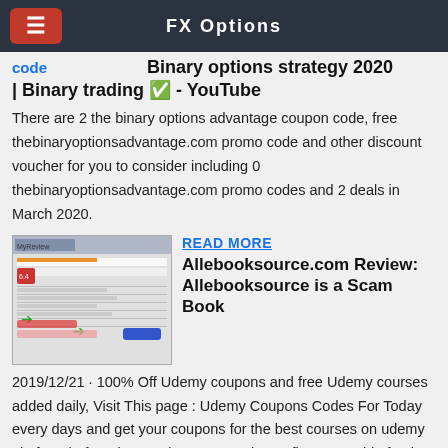FX Options
Binary options strategy 2020 | Binary trading ✅ - YouTube
There are 2 the binary options advantage coupon code, free thebinaryoptionsadvantage.com promo code and other discount voucher for you to consider including 0 thebinaryoptionsadvantage.com promo codes and 2 deals in March 2020.
[Figure (screenshot): Screenshot of Allebooksource.com website showing a book listing page with green arrows pointing to elements]
READ MORE
Allebooksource.com Review: Allebooksource is a Scam Book
2019/12/21 · 100% Off Udemy coupons and free Udemy courses added daily, Visit This page : Udemy Coupons Codes For Today every days and get your coupons for the best courses on udemy platform before they expire! We are always first to provide fresh